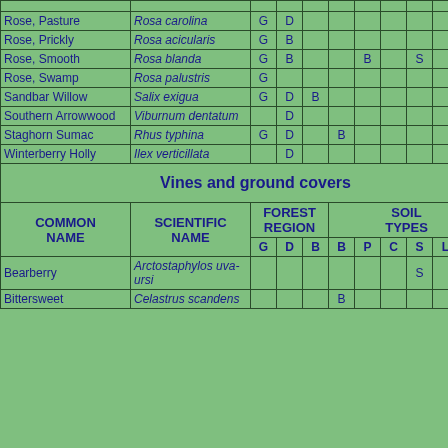| COMMON NAME | SCIENTIFIC NAME | G | D | B | B | P | C | S | L | A | M |
| --- | --- | --- | --- | --- | --- | --- | --- | --- | --- | --- | --- |
| Rose, Pasture | Rosa carolina | G | D |  |  |  |  |  |  |  |  |
| Rose, Prickly | Rosa acicularis | G | B |  |  |  |  |  |  |  |  |
| Rose, Smooth | Rosa blanda | G | B |  |  | B |  | S |  |  |  |
| Rose, Swamp | Rosa palustris | G |  |  |  |  |  |  |  |  |  |
| Sandbar Willow | Salix exigua | G | D | B |  |  |  |  |  |  | M |
| Southern Arrowwood | Viburnum dentatum |  | D |  |  |  |  |  |  |  |  |
| Staghorn Sumac | Rhus typhina | G | D |  | B |  |  |  |  |  | M |
| Winterberry Holly | Ilex verticillata |  | D |  |  |  |  |  |  |  | M |
| (Vines and ground covers section header) |  |  |  |  |  |  |  |  |  |  |  |
| Bearberry | Arctostaphylos uva-ursi |  |  |  |  |  |  | S |  |  |  |
| Bittersweet | Celastrus scandens |  |  |  | B |  |  |  |  |  | M |